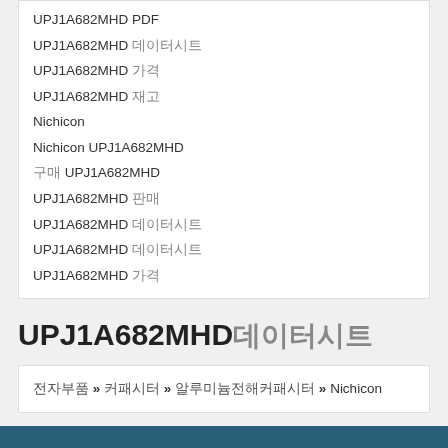UPJ1A682MHD PDF
UPJ1A682MHD 데이터시트
UPJ1A682MHD 가격
UPJ1A682MHD 재고
Nichicon
Nichicon UPJ1A682MHD
구매 UPJ1A682MHD
UPJ1A682MHD 판매
UPJ1A682MHD 데이터시트
UPJ1A682MHD 데이터시트
UPJ1A682MHD 가격
UPJ1A682MHD데이터시트
전자부품 » 커패시터 » 알루미늄전해커패시터 » Nichicon